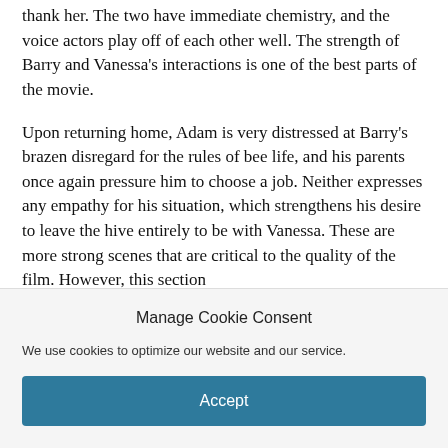thank her. The two have immediate chemistry, and the voice actors play off of each other well. The strength of Barry and Vanessa's interactions is one of the best parts of the movie.
Upon returning home, Adam is very distressed at Barry's brazen disregard for the rules of bee life, and his parents once again pressure him to choose a job. Neither expresses any empathy for his situation, which strengthens his desire to leave the hive entirely to be with Vanessa. These are more strong scenes that are critical to the quality of the film. However, this section
Manage Cookie Consent
We use cookies to optimize our website and our service.
Accept